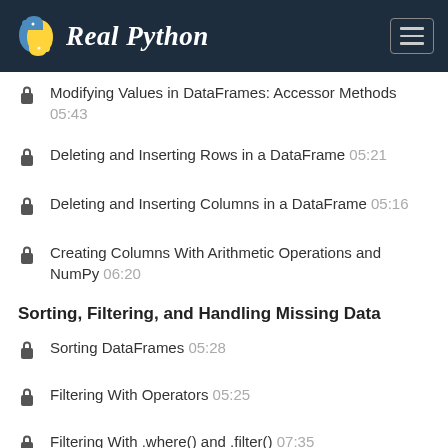Real Python
Modifying Values in DataFrames: Accessor Methods 05:43
Deleting and Inserting Rows in a DataFrame 05:21
Deleting and Inserting Columns in a DataFrame 05:16
Creating Columns With Arithmetic Operations and NumPy 06:20
Sorting, Filtering, and Handling Missing Data
Sorting DataFrames 05:28
Filtering With Operators 05:25
Filtering With .where() and .filter() 07:35
Using Statistical Methods on DataFrames 01:53
Handling Missing Data 08:16
Iterating Over Rows and Columns in DataFrames 07:37